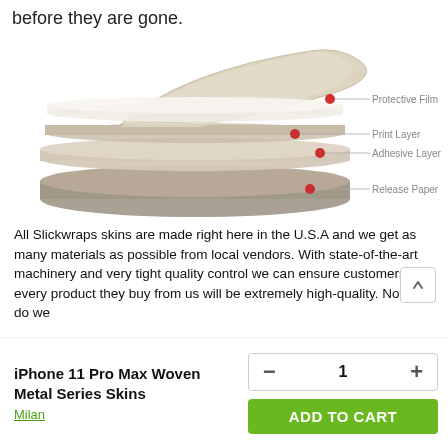before they are gone.
[Figure (schematic): Exploded layer diagram of a Slickwraps skin product showing four labeled layers: Protective Film (top), Print Layer, Adhesive Layer, and Release Paper (bottom), each pointed to by lines with red dot markers.]
All Slickwraps skins are made right here in the U.S.A and we get as many materials as possible from local vendors. With state-of-the-art machinery and very tight quality control we can ensure customers that every product they buy from us will be extremely high-quality. Not only do we
iPhone 11 Pro Max Woven Metal Series Skins
Milan